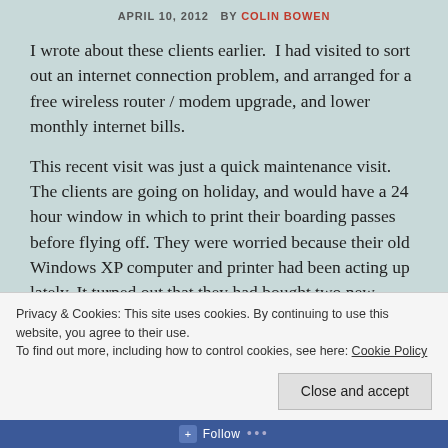APRIL 10, 2012   BY COLIN BOWEN
I wrote about these clients earlier.  I had visited to sort out an internet connection problem, and arranged for a free wireless router / modem upgrade, and lower monthly internet bills.
This recent visit was just a quick maintenance visit. The clients are going on holiday, and would have a 24 hour window in which to print their boarding passes before flying off. They were worried because their old Windows XP computer and printer had been acting up lately. It turned out that they had bought two new, identical laptops and a new wireless printer a few months ago, but hadn't even opened the boxes yet because they...
Privacy & Cookies: This site uses cookies. By continuing to use this website, you agree to their use.
To find out more, including how to control cookies, see here: Cookie Policy
Close and accept
Follow